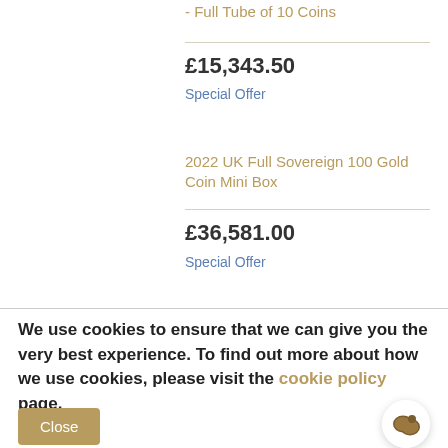- Full Tube of 10 Coins
£15,343.50
Special Offer
2022 UK Full Sovereign 100 Gold Coin Mini Box
£36,581.00
Special Offer
We use cookies to ensure that we can give you the very best experience. To find out more about how we use cookies, please visit the cookie policy page.
Close